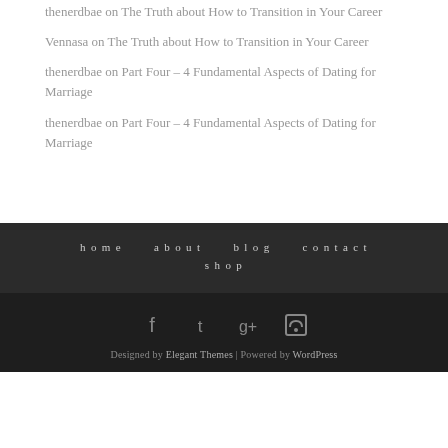thenerdbae on The Truth about How to Transition in Your Career
Vennasa on The Truth about How to Transition in Your Career
thenerdbae on Part Four – 4 Fundamental Aspects of Dating for Marriage
thenerdbae on Part Four – 4 Fundamental Aspects of Dating for Marriage
home  about  blog  contact  shop
Designed by Elegant Themes | Powered by WordPress